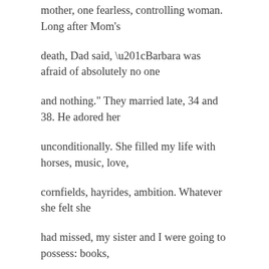mother, one fearless, controlling woman. Long after Mom's
death, Dad said, “Barbara was afraid of absolutely no one
and nothing.” They married late, 34 and 38. He adored her
unconditionally. She filled my life with horses, music, love,
cornfields, hayrides, ambition. Whatever she felt she
had missed, my sister and I were going to possess: books,